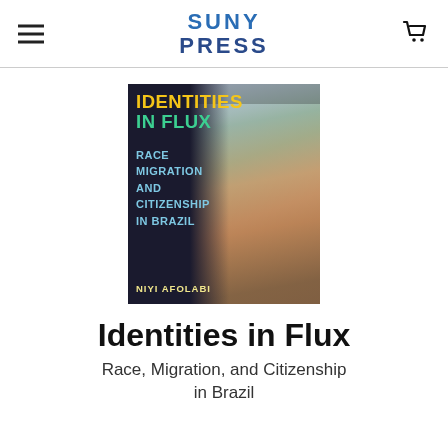SUNY PRESS
[Figure (illustration): Book cover for 'Identities in Flux: Race, Migration and Citizenship in Brazil' by Niyi Afolabi. Dark background with a photo of a smiling woman wearing a silver headdress. Title text in yellow and green, subtitle in blue.]
Identities in Flux
Race, Migration, and Citizenship in Brazil